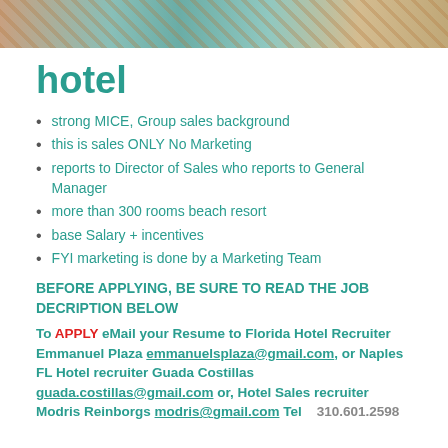[Figure (photo): Hotel interior/pool photo strip at top of page]
hotel
strong MICE, Group sales background
this is sales ONLY No Marketing
reports to Director of Sales who reports to General Manager
more than 300 rooms beach resort
base Salary + incentives
FYI marketing is done by a Marketing Team
BEFORE APPLYING, BE SURE TO READ THE JOB DECRIPTION BELOW
To APPLY eMail your Resume to Florida Hotel Recruiter Emmanuel Plaza emmanuelsplaza@gmail.com, or Naples FL Hotel recruiter Guada Costillas guada.costillas@gmail.com or, Hotel Sales recruiter Modris Reinborgs modris@gmail.com Tel    310.601.2598